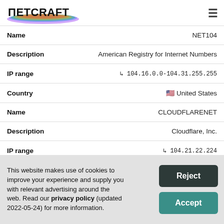NETCRAFT (logo with hamburger menu)
| Field | Value |
| --- | --- |
| Name | NET104 |
| Description | American Registry for Internet Numbers |
| IP range | ↳ 104.16.0.0-104.31.255.255 |
| Country | 🇺🇸 United States |
| Name | CLOUDFLARENET |
| Description | Cloudflare, Inc. |
| IP range | ↳ 104.21.22.224 |
This website makes use of cookies to improve your experience and supply you with relevant advertising around the web. Read our privacy policy (updated 2022-05-24) for more information.